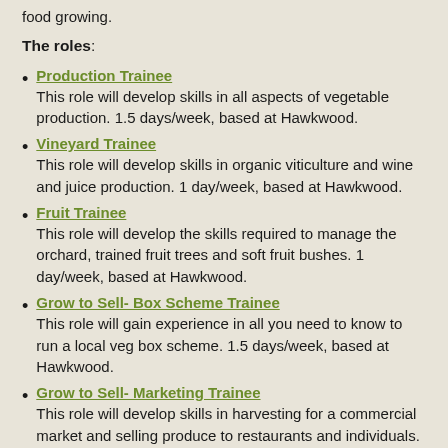food growing.
The roles:
Production Trainee
This role will develop skills in all aspects of vegetable production. 1.5 days/week, based at Hawkwood.
Vineyard Trainee
This role will develop skills in organic viticulture and wine and juice production. 1 day/week, based at Hawkwood.
Fruit Trainee
This role will develop the skills required to manage the orchard, trained fruit trees and soft fruit bushes. 1 day/week, based at Hawkwood.
Grow to Sell- Box Scheme Trainee
This role will gain experience in all you need to know to run a local veg box scheme. 1.5 days/week, based at Hawkwood.
Grow to Sell- Marketing Trainee
This role will develop skills in harvesting for a commercial market and selling produce to restaurants and individuals.
Community and Outreach Gardens Trainee
This role will...